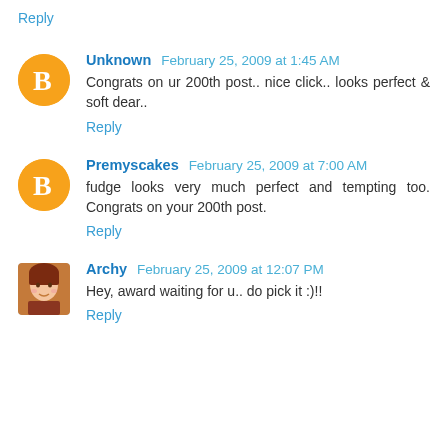Reply
Unknown February 25, 2009 at 1:45 AM
Congrats on ur 200th post.. nice click.. looks perfect & soft dear..
Reply
Premyscakes February 25, 2009 at 7:00 AM
fudge looks very much perfect and tempting too. Congrats on your 200th post.
Reply
Archy February 25, 2009 at 12:07 PM
Hey, award waiting for u.. do pick it :)!!
Reply